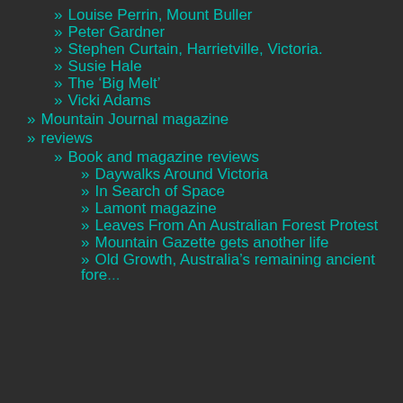» Louise Perrin, Mount Buller
» Peter Gardner
» Stephen Curtain, Harrietville, Victoria.
» Susie Hale
» The 'Big Melt'
» Vicki Adams
» Mountain Journal magazine
» reviews
» Book and magazine reviews
» Daywalks Around Victoria
» In Search of Space
» Lamont magazine
» Leaves From An Australian Forest Protest
» Mountain Gazette gets another life
» Old Growth, Australia's remaining ancient forests...